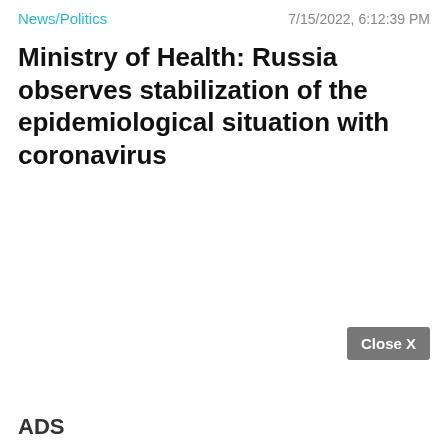News/Politics   7/15/2022, 6:12:39 PM
Ministry of Health: Russia observes stabilization of the epidemiological situation with coronavirus
Close X
ADS